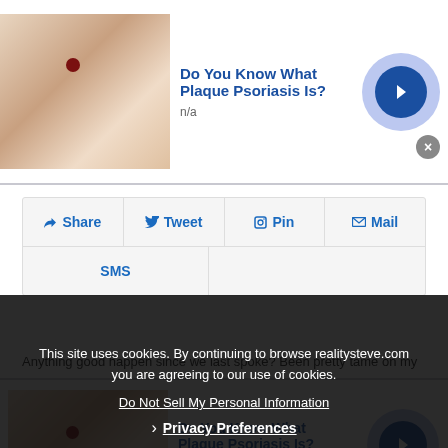[Figure (photo): Advertisement banner at top: thumbnail image of hand with skin condition, title 'Do You Know What Plaque Psoriasis Is?', subtitle 'n/a', arrow button]
Do You Know What Plaque Psoriasis Is?
n/a
[Figure (infographic): Social sharing buttons row: Share, Tweet, Pin, Mail, SMS]
This site uses cookies. By continuing to browse realitysteve.com you are agreeing to our use of cookies.
Do Not Sell My Personal Information
Privacy Preferences
Anything good happen since we last spoke? Been pretty tame on my end. Kidding. Obviously there's been a giant sh**storm, both positive and negative after Thursday's podcast. And that
[Figure (photo): Advertisement banner at bottom: thumbnail image of hand with skin condition, title 'Do You Know What Plaque Psoriasis Is?', subtitle 'n/a', arrow button]